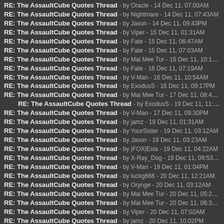RE: The AssaultCube Quotes Thread - by Oracle - 14 Dec 11, 07:00AM
RE: The AssaultCube Quotes Thread - by Nightmare - 14 Dec 11, 07:43AM
RE: The AssaultCube Quotes Thread - by Jason - 14 Dec 11, 09:43PM
RE: The AssaultCube Quotes Thread - by Viper - 15 Dec 11, 01:31AM
RE: The AssaultCube Quotes Thread - by Fate - 15 Dec 11, 06:47AM
RE: The AssaultCube Quotes Thread - by Fate - 15 Dec 11, 07:03AM
RE: The AssaultCube Quotes Thread - by Mai Mee Tur - 15 Dec 11, 10:15PM
RE: The AssaultCube Quotes Thread - by Fate - 16 Dec 11, 07:19AM
RE: The AssaultCube Quotes Thread - by V-Man - 16 Dec 11, 10:54AM
RE: The AssaultCube Quotes Thread - by ExodusS - 16 Dec 11, 09:17PM
RE: The AssaultCube Quotes Thread - by Mai Mee Tur - 17 Dec 11, 08:41PM
RE: The AssaultCube Quotes Thread - by ExodusS - 19 Dec 11, 11:38AM
RE: The AssaultCube Quotes Thread - by V-Man - 17 Dec 11, 09:30PM
RE: The AssaultCube Quotes Thread - by jamz - 19 Dec 11, 01:31AM
RE: The AssaultCube Quotes Thread - by YourSister - 19 Dec 11, 03:12AM
RE: The AssaultCube Quotes Thread - by Jason - 19 Dec 11, 03:23AM
RE: The AssaultCube Quotes Thread - by |FOX|Exia - 19 Dec 11, 04:22AM
RE: The AssaultCube Quotes Thread - by X-Ray_Dog - 19 Dec 11, 09:53AM
RE: The AssaultCube Quotes Thread - by V-Man - 19 Dec 11, 01:04PM
RE: The AssaultCube Quotes Thread - by luckg666 - 20 Dec 11, 12:21AM
RE: The AssaultCube Quotes Thread - by Orynge - 20 Dec 11, 03:12AM
RE: The AssaultCube Quotes Thread - by Mai Mee Tur - 20 Dec 11, 05:29AM
RE: The AssaultCube Quotes Thread - by Mai Mee Tur - 20 Dec 11, 06:30AM
RE: The AssaultCube Quotes Thread - by Viper - 20 Dec 11, 07:02AM
RE: The AssaultCube Quotes Thread - by jamz - 20 Dec 11, 10:02PM